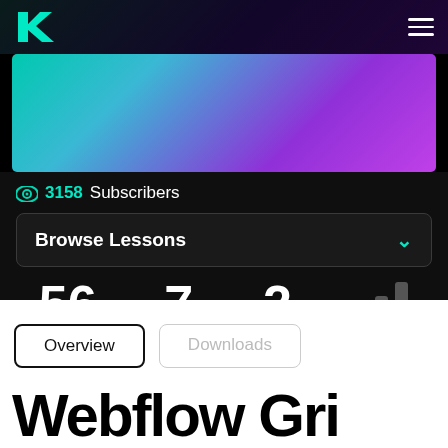[Figure (screenshot): Dark navigation bar with K logo on the left and hamburger menu on the right]
[Figure (illustration): Gradient banner image transitioning from teal/cyan on the left to purple/violet on the right]
👁 3158 Subscribers
Browse Lessons
56 LESSONS
7 HOURS
2 FILES
LEVEL
Overview
Downloads
Webflow Gri…